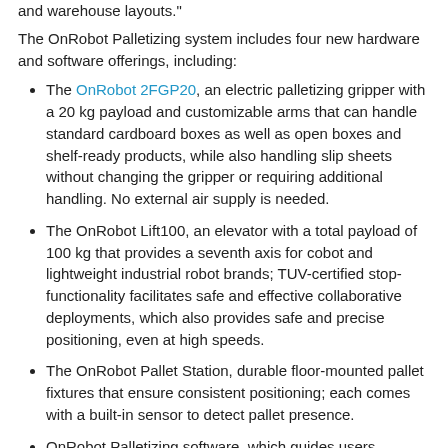and warehouse layouts."
The OnRobot Palletizing system includes four new hardware and software offerings, including:
The OnRobot 2FGP20, an electric palletizing gripper with a 20 kg payload and customizable arms that can handle standard cardboard boxes as well as open boxes and shelf-ready products, while also handling slip sheets without changing the gripper or requiring additional handling. No external air supply is needed.
The OnRobot Lift100, an elevator with a total payload of 100 kg that provides a seventh axis for cobot and lightweight industrial robot brands; TUV-certified stop-functionality facilitates safe and effective collaborative deployments, which also provides safe and precise positioning, even at high speeds.
The OnRobot Pallet Station, durable floor-mounted pallet fixtures that ensure consistent positioning; each comes with a built-in sensor to detect pallet presence.
OnRobot Palletizing software, which guides users through the entire deployment via a single intelligent interface for all components. Once the physical hardware is in place and secured, the customer or systems integrator opens OnRobot Palletizing to receive step-by-step guidance through the process of setting up a palletizing application. OnRobot said the software is designed to reduce deployment time by eliminating complexity, allowing even inexperienced end users to set up a palletizing application in a day.